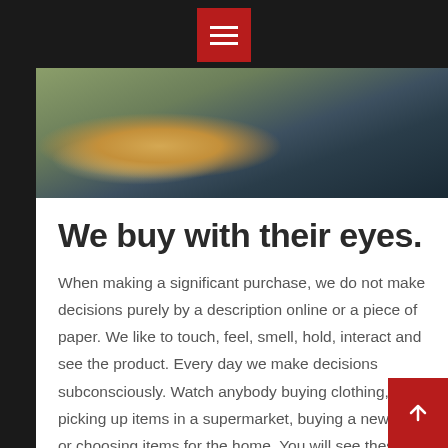[Figure (photo): Hamburger menu button icon on dark red/crimson background at top center of page]
[Figure (photo): Photo of people sitting outdoors, partially visible, with a glass of orange drink]
We buy with their eyes.
When making a significant purchase, we do not make decisions purely by a description online or a piece of paper. We like to touch, feel, smell, hold, interact and see the product. Every day we make decisions subconsciously. Watch anybody buying clothing, picking up items in a supermarket, buying a new car or choosing items for the home. You will see these actions.
Making a tangible connection is what is going to